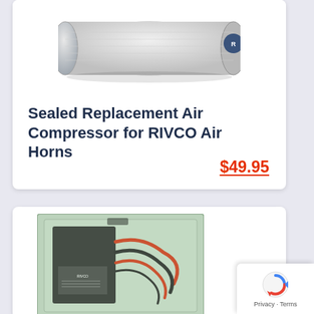[Figure (photo): White cylindrical sealed air compressor replacement unit shown horizontally, viewed from side/angle]
Sealed Replacement Air Compressor for RIVCO Air Horns
$49.95
[Figure (photo): Product in clear plastic packaging showing wiring/harness kit with red and black wires]
[Figure (other): Google reCAPTCHA badge with Privacy and Terms links]